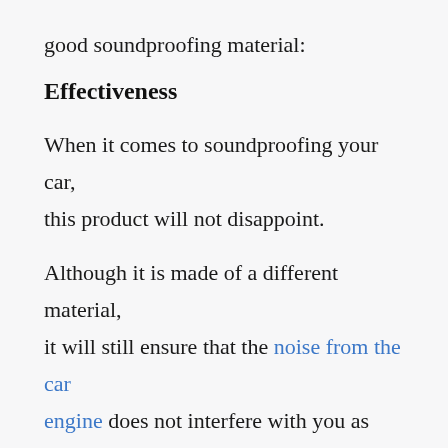good soundproofing material:
Effectiveness
When it comes to soundproofing your car, this product will not disappoint.
Although it is made of a different material, it will still ensure that the noise from the car engine does not interfere with you as you drive.